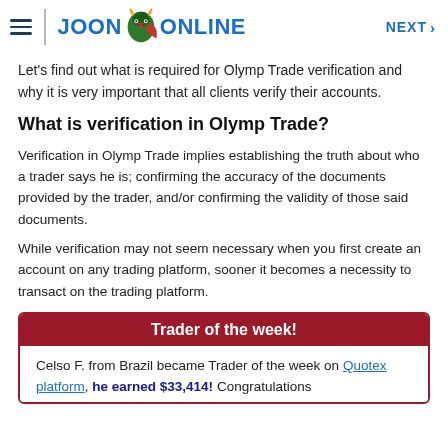JOON ONLINE — NEXT
Let's find out what is required for Olymp Trade verification and why it is very important that all clients verify their accounts.
What is verification in Olymp Trade?
Verification in Olymp Trade implies establishing the truth about who a trader says he is; confirming the accuracy of the documents provided by the trader, and/or confirming the validity of those said documents.
While verification may not seem necessary when you first create an account on any trading platform, sooner it becomes a necessity to transact on the trading platform.
Trader of the week!
Celso F. from Brazil became Trader of the week on Quotex platform, he earned $33,414! Congratulations